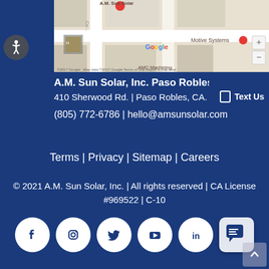[Figure (map): Google Maps screenshot showing A.M. Sun Solar location in Paso Robles, CA with Motive Systems and AMC Machining labels visible]
A.M. Sun Solar, Inc. Paso Robles Office
410 Sherwood Rd. | Paso Robles, CA. 934...
(805) 772-6786 | hello@amsunsolar.com
Terms | Privacy | Sitemap | Careers
© 2021 A.M. Sun Solar, Inc. | All rights reserved | CA License #969522 | C-10
[Figure (infographic): Social media icons row: Facebook, Instagram, Twitter, YouTube, LinkedIn, and a chat bubble icon]